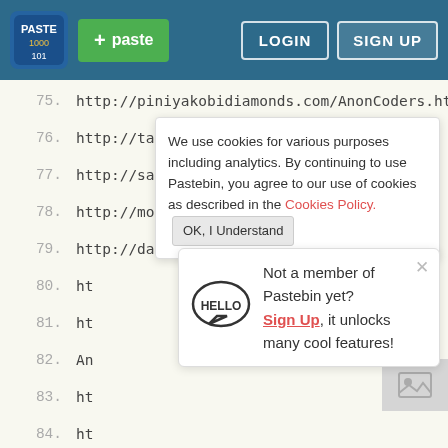[Figure (screenshot): Pastebin website navigation bar with logo, green paste button, LOGIN and SIGN UP buttons on dark blue background]
75.  http://piniyakobidiamonds.com/AnonCoders.html
76.  http://taliargaman.co.il/AnonCoders.html
77.  http://sadotdiamonds.com/AnonCoders.html
78.  http://moshenamdar.com/AnonCoders.html
79.  http://danmordiamonds.com/AnonCoders.html
80.  ht
81.  ht
82.  An
83.  ht
84.  ht
85.  ht
86.  ht
87.  http://em-trading.com/AnonCoders.html
88.  marozdiamonds.com/AnonCoders.html
89.  http://brotfeld.com/AnonCoders.html
90.  http://cgl-labs.com/AnonCoders.html
91.  http://perfectday.co.il/AnonCoders.html
We use cookies for various purposes including analytics. By continuing to use Pastebin, you agree to our use of cookies as described in the Cookies Policy. OK, I Understand
Not a member of Pastebin yet? Sign Up, it unlocks many cool features!